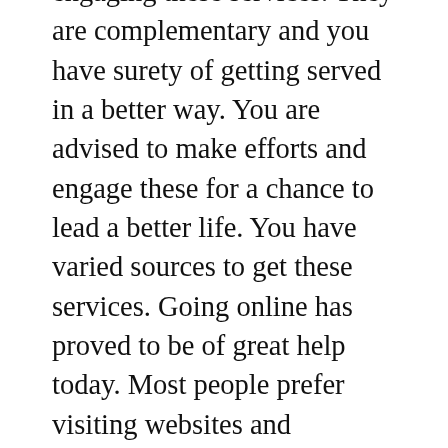engaging these services. They are complementary and you have surety of getting served in a better way. You are advised to make efforts and engage these for a chance to lead a better life. You have varied sources to get these services. Going online has proved to be of great help today. Most people prefer visiting websites and accessing the right info on where to find these services. Go to the right homepage today and learn where you can find custom showers and flooring services. The internet will offer you numerous benefits. The great one is that you have flexible time to find custom showers and flooring services. There are no limitations as to when you can go online to find these services. This has been voted as one of the